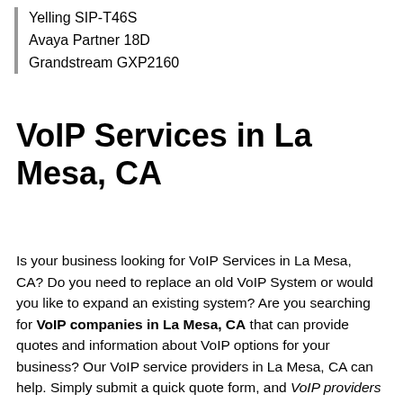Yelling SIP-T46S
Avaya Partner 18D
Grandstream GXP2160
VoIP Services in La Mesa, CA
Is your business looking for VoIP Services in La Mesa, CA? Do you need to replace an old VoIP System or would you like to expand an existing system? Are you searching for VoIP companies in La Mesa, CA that can provide quotes and information about VoIP options for your business? Our VoIP service providers in La Mesa, CA can help. Simply submit a quick quote form, and VoIP providers in La Mesa, CA will send you complimentary no obligation quotes.